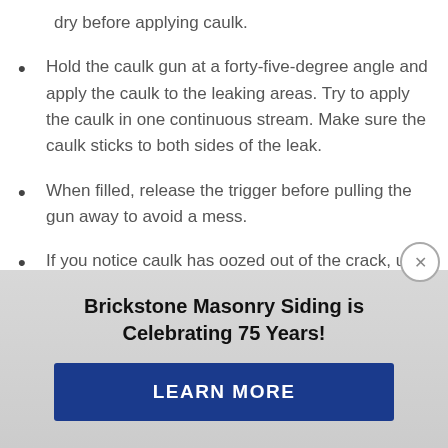dry before applying caulk.
Hold the caulk gun at a forty-five-degree angle and apply the caulk to the leaking areas. Try to apply the caulk in one continuous stream. Make sure the caulk sticks to both sides of the leak.
When filled, release the trigger before pulling the gun away to avoid a mess.
If you notice caulk has oozed out of the crack, use
[Figure (infographic): Advertisement overlay for Brickstone Masonry Siding celebrating 75 years, with a blue LEARN MORE button]
Brickstone Masonry Siding is Celebrating 75 Years!